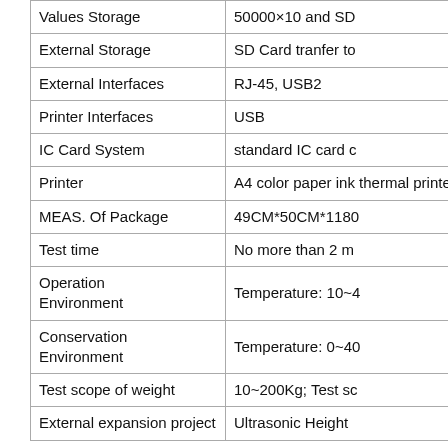| Feature | Specification |
| --- | --- |
| Values Storage | 50000×10 and SD |
| External Storage | SD Card tranfer to |
| External Interfaces | RJ-45, USB2 |
| Printer Interfaces | USB |
| IC Card System | standard IC card c |
| Printer | A4 color paper ink thermal printer |
| MEAS. Of Package | 49CM*50CM*1180 |
| Test time | No more than 2 m |
| Operation Environment | Temperature: 10~4 |
| Conservation Environment | Temperature: 0~40 |
| Test scope of weight | 10~200Kg; Test sc |
| External expansion project | Ultrasonic Height |